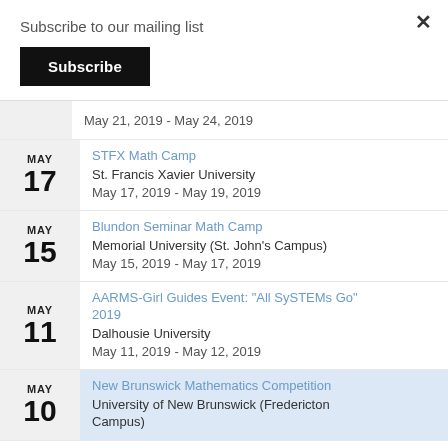Subscribe to our mailing list
Subscribe
May 21, 2019 - May 24, 2019
STFX Math Camp
St. Francis Xavier University
May 17, 2019 - May 19, 2019
Blundon Seminar Math Camp
Memorial University (St. John's Campus)
May 15, 2019 - May 17, 2019
AARMS-Girl Guides Event: "All SySTEMs Go" 2019
Dalhousie University
May 11, 2019 - May 12, 2019
New Brunswick Mathematics Competition
University of New Brunswick (Fredericton Campus)